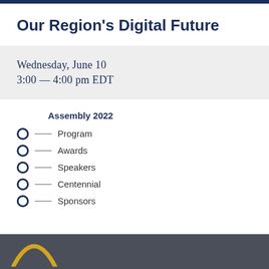Our Region's Digital Future
Wednesday, June 10
3:00 — 4:00 pm EDT
Assembly 2022
Program
Awards
Speakers
Centennial
Sponsors